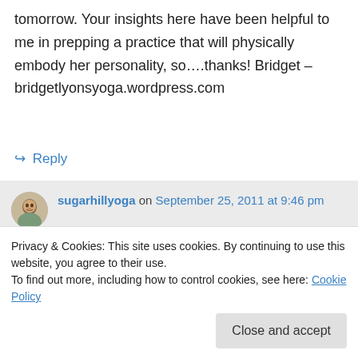tomorrow. Your insights here have been helpful to me in prepping a practice that will physically embody her personality, so….thanks! Bridget – bridgetlyonsyoga.wordpress.com
↪ Reply
sugarhillyoga on September 25, 2011 at 9:46 pm
The gods & goddesses are such an
Privacy & Cookies: This site uses cookies. By continuing to use this website, you agree to their use.
To find out more, including how to control cookies, see here: Cookie Policy
Close and accept